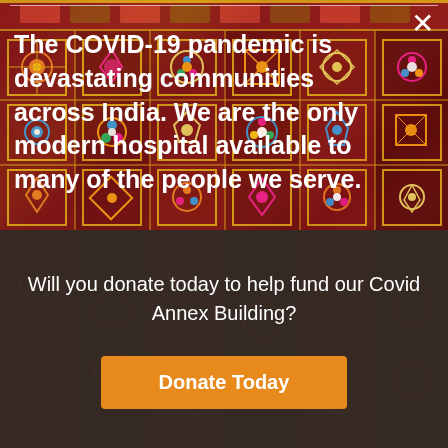[Figure (photo): Colorful traditional Indian textile/embroidery fabric with geometric and floral patterns in red, orange, pink, blue, yellow colors as background]
The COVID-19 pandemic is devastating communities across India. We are the only modern hospital available to many of the people we serve.
Will you donate today to help fund our Covid Annex Building?
Donate Today